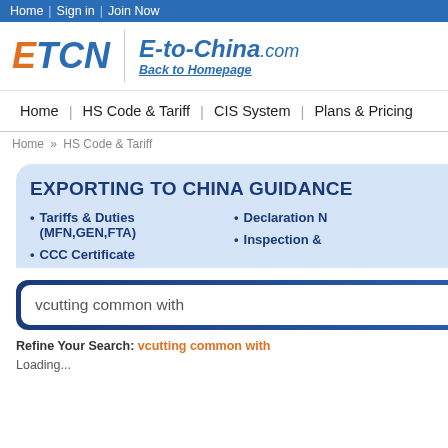Home | Sign in | Join Now
[Figure (logo): ETCN logo with orange E and blue TCN, vertical divider, E-to-China.com italic blue text and Back to Homepage link]
Home | HS Code & Tariff | CIS System | Plans & Pricing
Home » HS Code & Tariff
EXPORTING TO CHINA GUIDANCE
Tariffs & Duties (MFN,GEN,FTA)
CCC Certificate
Declaration N
Inspection &
vcutting common with
Refine Your Search: vcutting common with
Loading...